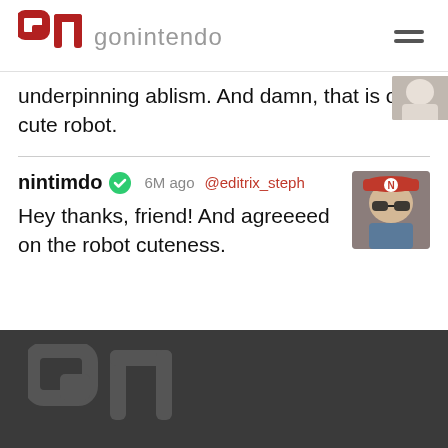gonintendo
underpinning ablism. And damn, that is one cute robot.
nintimdo  6M ago  @editrix_steph
Hey thanks, friend! And agreeeed on the robot cuteness.
gn logo footer